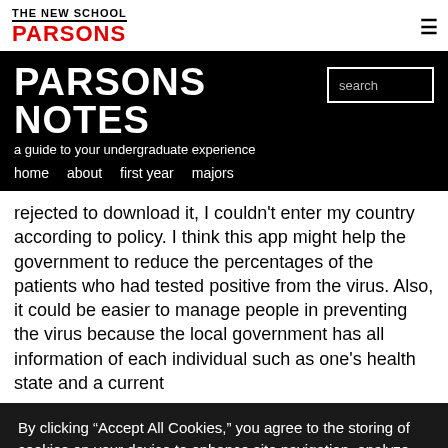THE NEW SCHOOL PARSONS
PARSONS NOTES
a guide to your undergraduate experience
home   about   first year   majors
rejected to download it, I couldn't enter my country according to policy. I think this app might help the government to reduce the percentages of the patients who had tested positive from the virus. Also, it could be easier to manage people in preventing the virus because the local government has all information of each individual such as one's health state and a current
By clicking “Accept All Cookies,” you agree to the storing of cookies on your device to enhance site navigation, analyze site usage, and assist in our marketing efforts.
Cookie Statement